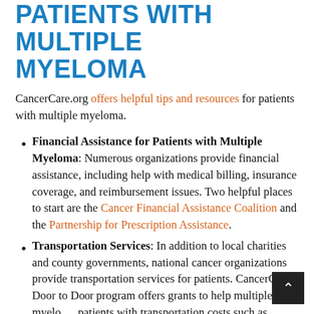PATIENTS WITH MULTIPLE MYELOMA
CancerCare.org offers helpful tips and resources for patients with multiple myeloma.
Financial Assistance for Patients with Multiple Myeloma: Numerous organizations provide financial assistance, including help with medical billing, insurance coverage, and reimbursement issues. Two helpful places to start are the Cancer Financial Assistance Coalition and the Partnership for Prescription Assistance.
Transportation Services: In addition to local charities and county governments, national cancer organizations provide transportation services for patients. CancerCare's Door to Door program offers grants to help multiple myeloma patients with transportation costs such as gasoline, taxi service, and public transportation